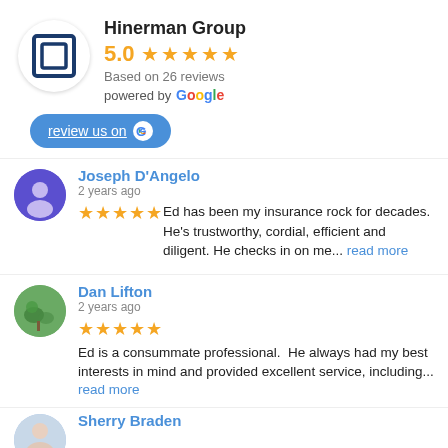Hinerman Group
5.0 ★★★★★
Based on 26 reviews
powered by Google
review us on Google
Joseph D'Angelo
2 years ago
★★★★★ Ed has been my insurance rock for decades. He's trustworthy, cordial, efficient and diligent. He checks in on me... read more
Dan Lifton
2 years ago
★★★★★ Ed is a consummate professional.  He always had my best interests in mind and provided excellent service, including... read more
Sherry Braden